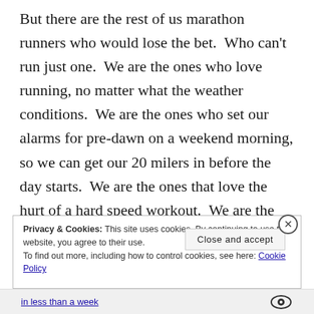But there are the rest of us marathon runners who would lose the bet.  Who can't run just one.  We are the ones who love running, no matter what the weather conditions.  We are the ones who set our alarms for pre-dawn on a weekend morning, so we can get our 20 milers in before the day starts.  We are the ones that love the hurt of a hard speed workout.  We are the ones who sacrifice a night of alcohol and fried food because we know we have a hard workout the next morning.  We are the ones who scour training books, race plans,
Privacy & Cookies: This site uses cookies. By continuing to use this website, you agree to their use.
To find out more, including how to control cookies, see here: Cookie Policy
Close and accept
in less than a week